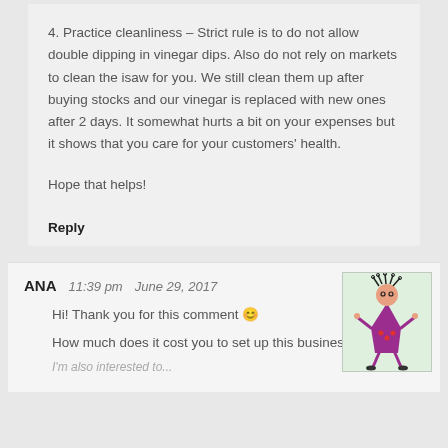4. Practice cleanliness – Strict rule is to do not allow double dipping in vinegar dips. Also do not rely on markets to clean the isaw for you. We still clean them up after buying stocks and our vinegar is replaced with new ones after 2 days. It somewhat hurts a bit on your expenses but it shows that you care for your customers' health.

Hope that helps!
Reply
ANA   11:39 pm   June 29, 2017
Hi! Thank you for this comment 🙂
How much does it cost you to set up this business?
[Figure (illustration): Cartoon illustration of a quirky purple stick-figure character with wild hair on a light green background]